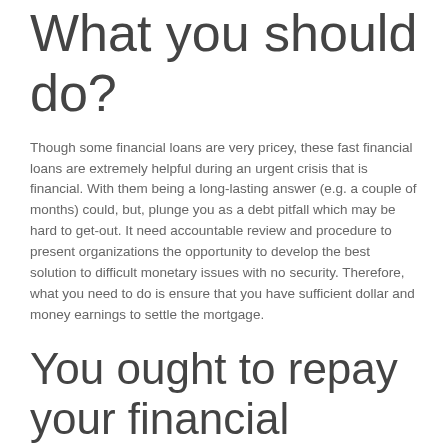What you should do?
Though some financial loans are very pricey, these fast financial loans are extremely helpful during an urgent crisis that is financial. With them being a long-lasting answer (e.g. a couple of months) could, but, plunge you as a debt pitfall which may be hard to get-out. It need accountable review and procedure to present organizations the opportunity to develop the best solution to difficult monetary issues with no security. Therefore, what you need to do is ensure that you have sufficient dollar and money earnings to settle the mortgage.
You ought to repay your financial financial Loans on time